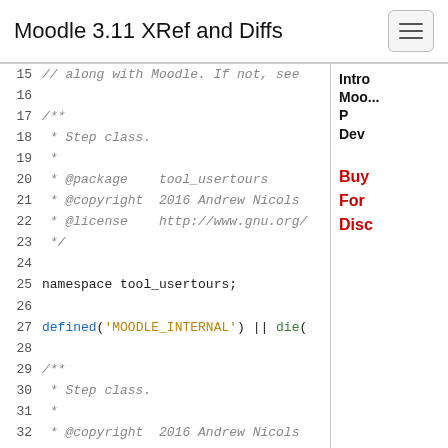Moodle 3.11 XRef and Diffs
Code listing lines 15-33 from Moodle tool_usertours namespace file
[Figure (other): Sidebar advertisement panel partially visible showing 'Intro Moo... P Dev' in bold and 'Buy For Disc' in red bold text]